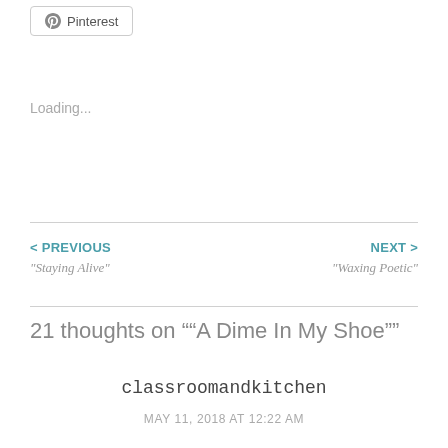Pinterest
Loading...
< PREVIOUS
"Staying Alive"
NEXT >
"Waxing Poetic"
21 thoughts on "“A Dime In My Shoe”"
classroomandkitchen
MAY 11, 2018 AT 12:22 AM